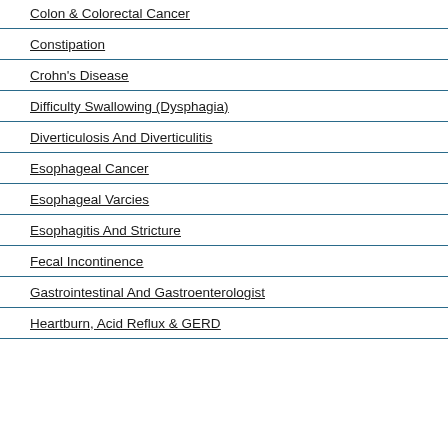Colon & Colorectal Cancer
Constipation
Crohn's Disease
Difficulty Swallowing (Dysphagia)
Diverticulosis And Diverticulitis
Esophageal Cancer
Esophageal Varcies
Esophagitis And Stricture
Fecal Incontinence
Gastrointestinal And Gastroenterologist
Heartburn, Acid Reflux & GERD